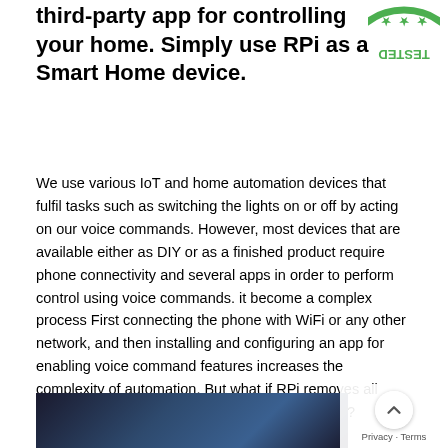third-party app for controlling your home. Simply use RPi as a Smart Home device.
[Figure (logo): Partially visible circular green badge/seal with 'TESTED' text visible (upside down), top-right corner]
We use various IoT and home automation devices that fulfil tasks such as switching the lights on or off by acting on our voice commands. However, most devices that are available either as DIY or as a finished product require phone connectivity and several apps in order to perform control using voice commands. it become a complex process First connecting the phone with WiFi or any other network, and then installing and configuring an app for enabling voice command features increases the complexity of automation. But what if RPi removes all those steps and works as a smart assistant itself? Wouldn't it be more convenient?
[Figure (photo): Dark photo at bottom of page, partially visible, appears to show a person]
[Figure (screenshot): Privacy overlay with scroll-to-top button and Privacy/Terms links in bottom-right corner]